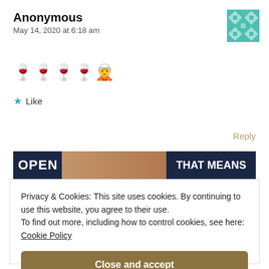Anonymous
May 14, 2020 at 6:18 am
[Figure (other): Teal geometric quilt-pattern avatar icon]
🍷🍷🍷🍷🧝
★ Like
Reply
[Figure (other): Advertisement banner with 'OPEN' text and 'THAT MEANS' on dark navy background]
Privacy & Cookies: This site uses cookies. By continuing to use this website, you agree to their use.
To find out more, including how to control cookies, see here:
Cookie Policy
Close and accept